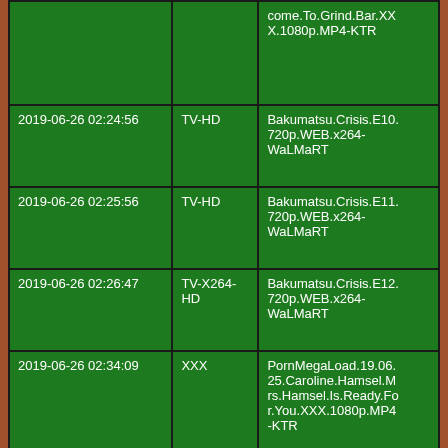| Date | Category | Filename |
| --- | --- | --- |
|  |  | come.To.Grind.Bar.XXX.1080p.MP4-KTR |
| 2019-06-26 02:24:56 | TV-HD | Bakumatsu.Crisis.E10.720p.WEB.x264-WaLMaRT |
| 2019-06-26 02:25:56 | TV-HD | Bakumatsu.Crisis.E11.720p.WEB.x264-WaLMaRT |
| 2019-06-26 02:26:47 | TV-X264-HD | Bakumatsu.Crisis.E12.720p.WEB.x264-WaLMaRT |
| 2019-06-26 02:34:09 | XXX | PornMegaLoad.19.06.25.Caroline.Hamsel.Mrs.Hamsel.Is.Ready.For.You.XXX.1080p.MP4-KTR |
| 2019-06-26 02:34:21 | FLAC | SKANT-Bread_and_Bom-CD-FLAC-2002-FATHEAD |
| 2019-06-26 02:35:50 | XXX | PornMegaLoad.19.06. |